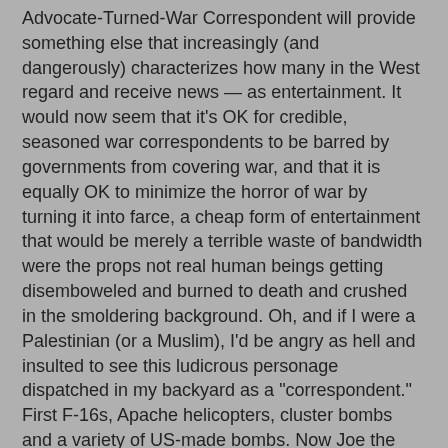Advocate-Turned-War Correspondent will provide something else that increasingly (and dangerously) characterizes how many in the West regard and receive news — as entertainment. It would now seem that it's OK for credible, seasoned war correspondents to be barred by governments from covering war, and that it is equally OK to minimize the horror of war by turning it into farce, a cheap form of entertainment that would be merely a terrible waste of bandwidth were the props not real human beings getting disemboweled and burned to death and crushed in the smoldering background. Oh, and if I were a Palestinian (or a Muslim), I'd be angry as hell and insulted to see this ludicrous personage dispatched in my backyard as a "correspondent." First F-16s, Apache helicopters, cluster bombs and a variety of US-made bombs. Now Joe the Plumber. Ugh.
I wouldn't even trust this man to fix my plumbing, let alone have him "inform" thousands of watchers on the "realities" of the Middle East. But some will. Some will…
J. Michael Cole @@@ at 5:13 PM    1 comment: